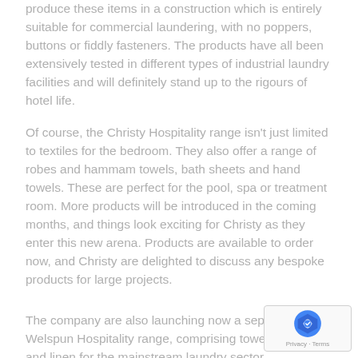produce these items in a construction which is entirely suitable for commercial laundering, with no poppers, buttons or fiddly fasteners. The products have all been extensively tested in different types of industrial laundry facilities and will definitely stand up to the rigours of hotel life.
Of course, the Christy Hospitality range isn't just limited to textiles for the bedroom. They also offer a range of robes and hammam towels, bath sheets and hand towels. These are perfect for the pool, spa or treatment room. More products will be introduced in the coming months, and things look exciting for Christy as they enter this new arena. Products are available to order now, and Christy are delighted to discuss any bespoke products for large projects.
The company are also launching now a separate Welspun Hospitality range, comprising towels, robes and linen for the mainstream laundry sector, competitively priced, and made to the same exacting